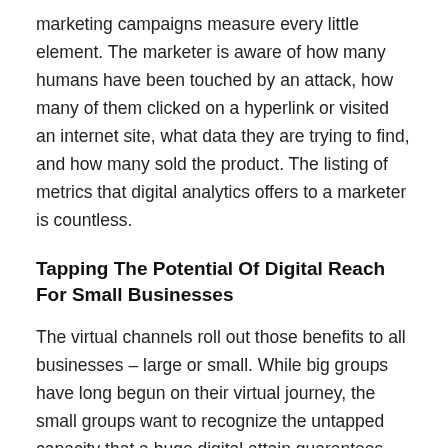marketing campaigns measure every little element. The marketer is aware of how many humans have been touched by an attack, how many of them clicked on a hyperlink or visited an internet site, what data they are trying to find, and how many sold the product. The listing of metrics that digital analytics offers to a marketer is countless.
Tapping The Potential Of Digital Reach For Small Businesses
The virtual channels roll out those benefits to all businesses – large or small. While big groups have long begun on their virtual journey, the small groups want to recognize the untapped capacity that a huge digital attain guarantees them. With the evolution of the current era, small organizations must keep up the size of advertising and commercial enterprise operations consistent with that of large corporations. Integrated digital advertising and marketing strategies are driving business effects for big companies. Going against the digital tide can honestly damage small corporations of